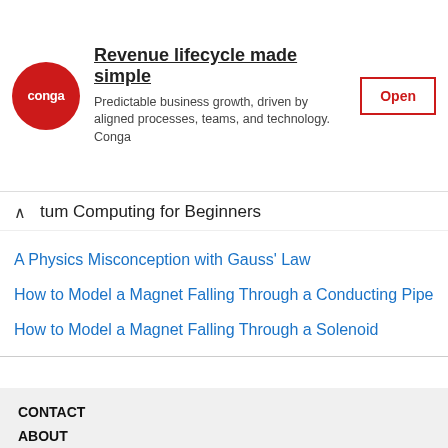[Figure (other): Advertisement banner for Conga: 'Revenue lifecycle made simple. Predictable business growth, driven by aligned processes, teams, and technology. Conga' with an Open button and Conga logo.]
tum Computing for Beginners
A Physics Misconception with Gauss' Law
How to Model a Magnet Falling Through a Conducting Pipe
How to Model a Magnet Falling Through a Solenoid
CONTACT
ABOUT
TERMS
PRIVACY